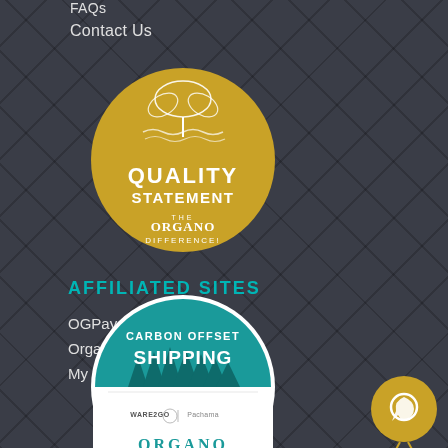FAQs
Contact Us
[Figure (logo): Quality Statement - The Organo Difference gold circular badge with wheat/plant illustration]
AFFILIATED SITES
OGPay
Organo Merchandise
My OGA
[Figure (logo): Carbon Offset Shipping circular badge with teal/green forest illustration, WARE2GO and Pachama logos, ORGANO text]
[Figure (logo): Small gold circular chat/support badge icon]